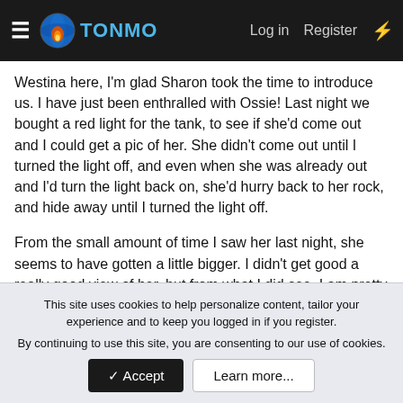TONMO | Log in | Register
Westina here, I'm glad Sharon took the time to introduce us. I have just been enthralled with Ossie! Last night we bought a red light for the tank, to see if she'd come out and I could get a pic of her. She didn't come out until I turned the light off, and even when she was already out and I'd turn the light back on, she'd hurry back to her rock, and hide away until I turned the light off.
From the small amount of time I saw her last night, she seems to have gotten a little bigger. I didn't get good a really good view of her, but from what I did see, I am pretty sure she got bigger. She quickly blended in with the rocks she was on, and seemed to be aware of what was going on around her. I think she could see the red light though.
This site uses cookies to help personalize content, tailor your experience and to keep you logged in if you register.
By continuing to use this site, you are consenting to our use of cookies.